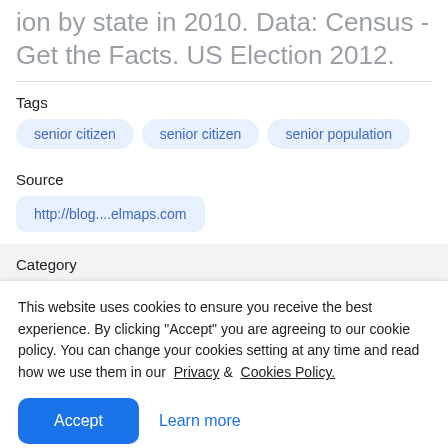ion by state in 2010. Data: Census - Get the Facts. US Election 2012.
Tags
senior citizen
senior citizen
senior population
Source
http://blog....elmaps.com
Category
This website uses cookies to ensure you receive the best experience. By clicking "Accept" you are agreeing to our cookie policy. You can change your cookies setting at any time and read how we use them in our Privacy & Cookies Policy.
Accept
Learn more